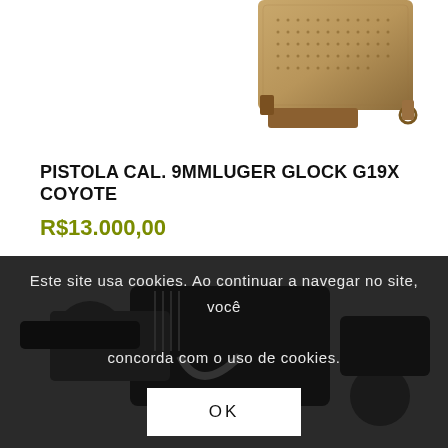[Figure (photo): Tan/coyote colored Glock G19X pistol shown from the grip/magazine area, top-right portion visible]
PISTOLA CAL. 9MMLUGER GLOCK G19X COYOTE
R$13.000,00
🛒 Fazer Pedido
📋 Exibir detalhes
[Figure (photo): Black pistol shown in background of dark overlay section]
Este site usa cookies. Ao continuar a navegar no site, você concorda com o uso de cookies.
OK